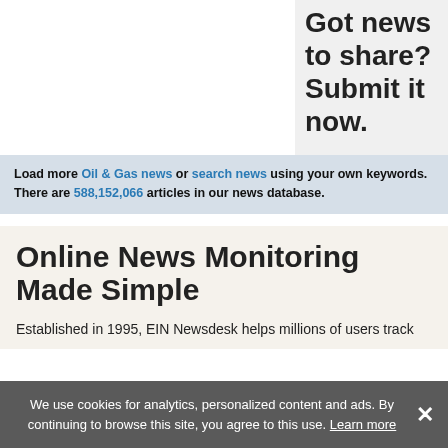Got news to share? Submit it now.
Load more Oil & Gas news or search news using your own keywords. There are 588,152,066 articles in our news database.
Online News Monitoring Made Simple
Established in 1995, EIN Newsdesk helps millions of users track
We use cookies for analytics, personalized content and ads. By continuing to browse this site, you agree to this use. Learn more